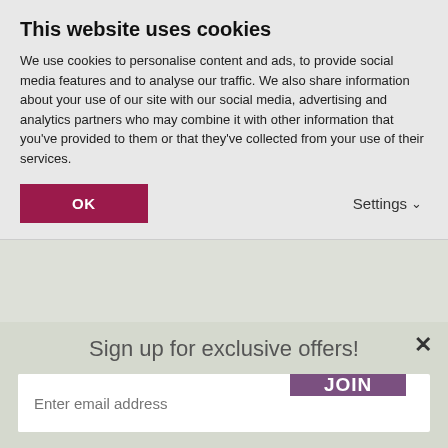This website uses cookies
We use cookies to personalise content and ads, to provide social media features and to analyse our traffic. We also share information about your use of our site with our social media, advertising and analytics partners who may combine it with other information that you've provided to them or that they've collected from your use of their services.
OK
Settings
Height Up To 75cm (29.5in)
Spread Up To 50cm (19.7in)
[Figure (illustration): Thermometer icon with sun and snowflake symbols indicating temperature/hardiness range]
Hardiness & Longevity
Sign up for exclusive offers!
Enter email address
JOIN